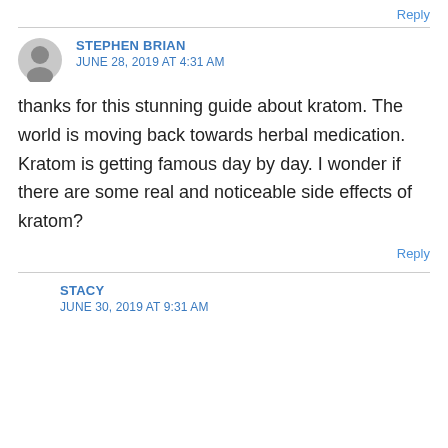Reply
STEPHEN BRIAN
JUNE 28, 2019 AT 4:31 AM
thanks for this stunning guide about kratom. The world is moving back towards herbal medication. Kratom is getting famous day by day. I wonder if there are some real and noticeable side effects of kratom?
Reply
STACY
JUNE 30, 2019 AT 9:31 AM